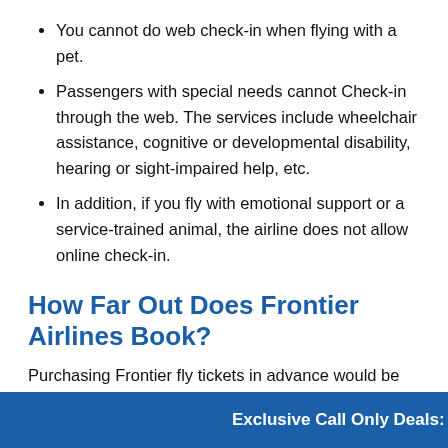You cannot do web check-in when flying with a pet.
Passengers with special needs cannot Check-in through the web. The services include wheelchair assistance, cognitive or developmental disability, hearing or sight-impaired help, etc.
In addition, if you fly with emotional support or a service-trained animal, the airline does not allow online check-in.
How Far Out Does Frontier Airlines Book?
Purchasing Frontier fly tickets in advance would be an excellent option for you, especially if you are a budget-oriented tra... on your flig... book imme...
Exclusive Call Only Deals: +1-860-498-9674